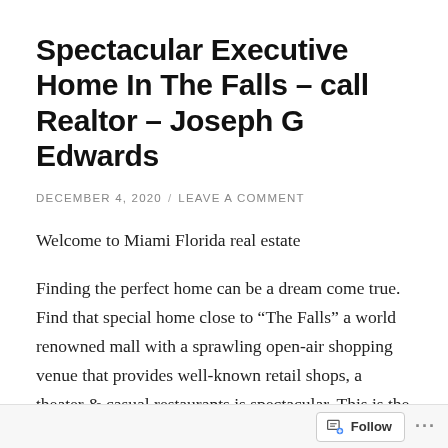Spectacular Executive Home In The Falls – call Realtor – Joseph G Edwards
DECEMBER 4, 2020 / LEAVE A COMMENT
Welcome to Miami Florida real estate
Finding the perfect home can be a dream come true. Find that special home close to “The Falls” a world renowned mall with a sprawling open-air shopping venue that provides well-known retail shops, a theater & casual restaurants is spectacular. This is the perfect location to enjoy the tropical climate with summer